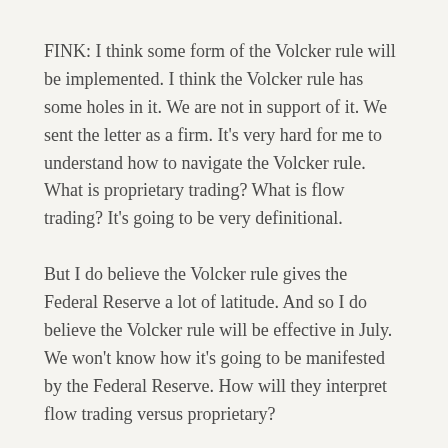FINK: I think some form of the Volcker rule will be implemented. I think the Volcker rule has some holes in it. We are not in support of it. We sent the letter as a firm. It's very hard for me to understand how to navigate the Volcker rule. What is proprietary trading? What is flow trading? It's going to be very definitional.
But I do believe the Volcker rule gives the Federal Reserve a lot of latitude. And so I do believe the Volcker rule will be effective in July. We won't know how it's going to be manifested by the Federal Reserve. How will they interpret flow trading versus proprietary?